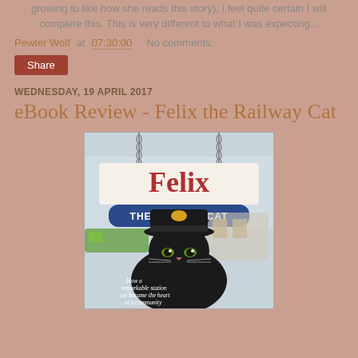growing to like how she reads this story), I feel quite certain I will complete this. This is very different to what I was expecting...
Pewter Wolf at 07:30:00   No comments:
Share
WEDNESDAY, 19 APRIL 2017
eBook Review - Felix the Railway Cat
[Figure (photo): Book cover of 'Felix the Railway Cat' showing a black cat wearing a station master hat, with the title 'Felix' in large red text and 'THE RAILWAY CAT' on a blue banner. Subtitle reads 'How a remarkable station cat became the heart of a community'. Chain hangs above the sign.]